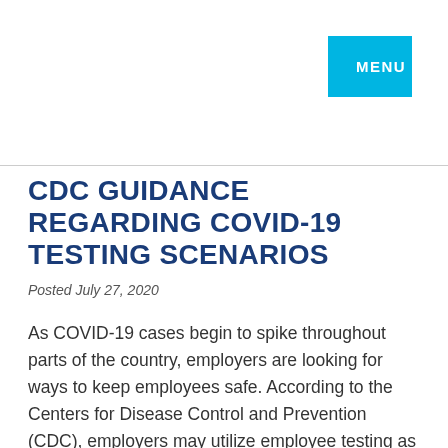MENU
CDC GUIDANCE REGARDING COVID-19 TESTING SCENARIOS
Posted July 27, 2020
As COVID-19 cases begin to spike throughout parts of the country, employers are looking for ways to keep employees safe. According to the Centers for Disease Control and Prevention (CDC), employers may utilize employee testing as part of a comprehensive approach to reducing the